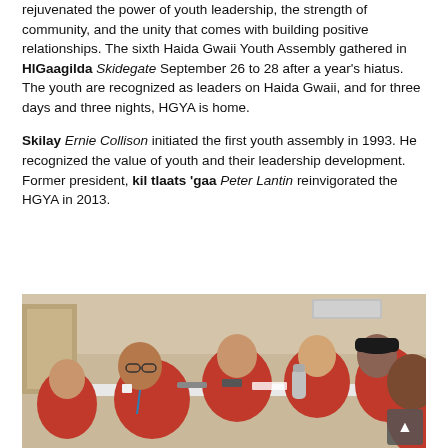rejuvenated the power of youth leadership, the strength of community, and the unity that comes with building positive relationships. The sixth Haida Gwaii Youth Assembly gathered in HlGaagilda Skidegate September 26 to 28 after a year's hiatus. The youth are recognized as leaders on Haida Gwaii, and for three days and three nights, HGYA is home.
Skilay Ernie Collison initiated the first youth assembly in 1993. He recognized the value of youth and their leadership development. Former president, kil tlaats 'gaa Peter Lantin reinvigorated the HGYA in 2013.
[Figure (photo): Group of young people wearing red t-shirts seated around a white table in a community hall, smiling at the camera. A man in the foreground wears glasses and a blue lanyard.]